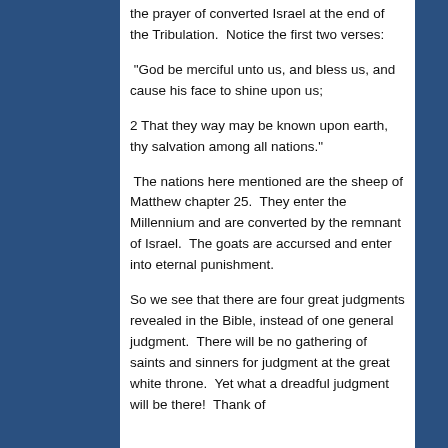the prayer of converted Israel at the end of the Tribulation.  Notice the first two verses:
“God be merciful unto us, and bless us, and cause his face to shine upon us;
2 That they way may be known upon earth, thy salvation among all nations.”
The nations here mentioned are the sheep of Matthew chapter 25.  They enter the Millennium and are converted by the remnant of Israel.  The goats are accursed and enter into eternal punishment.
So we see that there are four great judgments revealed in the Bible, instead of one general judgment.  There will be no gathering of saints and sinners for judgment at the great white throne.  Yet what a dreadful judgment will be there!  Thank of